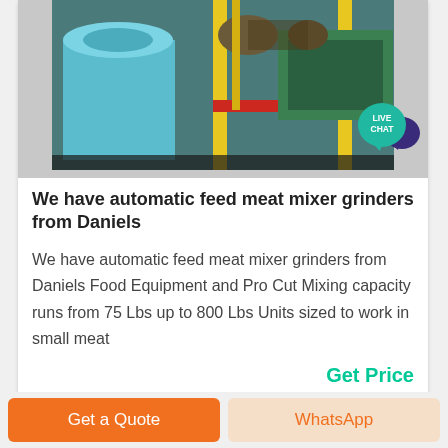[Figure (photo): Industrial meat mixer grinder machine with blue cylindrical body, yellow vertical pipes, red horizontal pipe, and teal/green motor components]
We have automatic feed meat mixer grinders from Daniels
We have automatic feed meat mixer grinders from Daniels Food Equipment and Pro Cut Mixing capacity runs from 75 Lbs up to 800 Lbs Units sized to work in small meat
Get Price